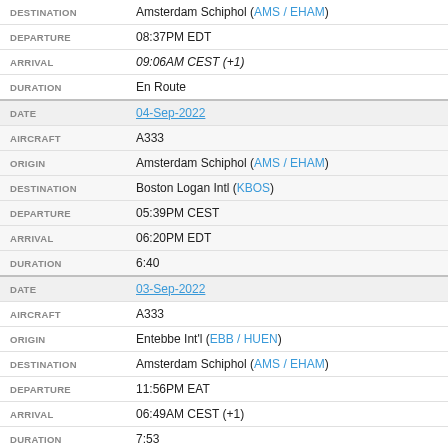| Field | Value |
| --- | --- |
| DESTINATION | Amsterdam Schiphol (AMS / EHAM) |
| DEPARTURE | 08:37PM EDT |
| ARRIVAL | 09:06AM CEST (+1) |
| DURATION | En Route |
| DATE | 04-Sep-2022 |
| AIRCRAFT | A333 |
| ORIGIN | Amsterdam Schiphol (AMS / EHAM) |
| DESTINATION | Boston Logan Intl (KBOS) |
| DEPARTURE | 05:39PM CEST |
| ARRIVAL | 06:20PM EDT |
| DURATION | 6:40 |
| DATE | 03-Sep-2022 |
| AIRCRAFT | A333 |
| ORIGIN | Entebbe Int'l (EBB / HUEN) |
| DESTINATION | Amsterdam Schiphol (AMS / EHAM) |
| DEPARTURE | 11:56PM EAT |
| ARRIVAL | 06:49AM CEST (+1) |
| DURATION | 7:53 |
| DATE | 03-Sep-2022 |
| AIRCRAFT | A333 |
| ORIGIN | Kigali Int'l (KGL / HRYR) |